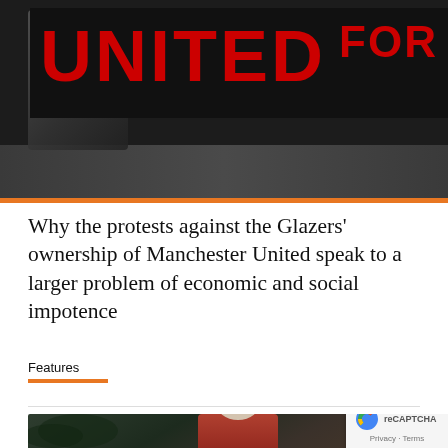[Figure (photo): Protesters holding a large black banner with red letters reading 'UNITED FOR' against a dark background, with a close-up face visible on the left side of the banner.]
Why the protests against the Glazers' ownership of Manchester United speak to a larger problem of economic and social impotence
Features
[Figure (photo): A man with glasses and grey beard speaking outdoors, wearing a red jacket, with dark foliage in the background. A reCAPTCHA badge is visible in the bottom-right corner showing the reCAPTCHA logo and Privacy/Terms links.]